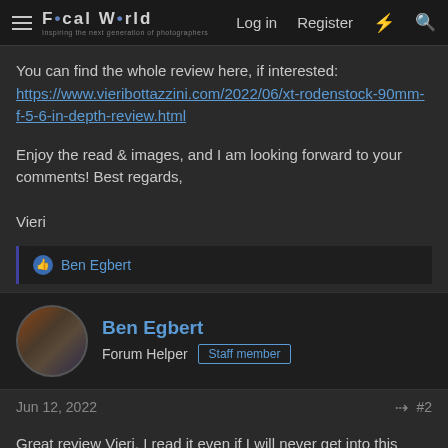Focal World — Log in  Register
You can find the whole review here, if interested:
https://www.vieribottazzini.com/2022/06/xt-rodenstock-90mm-f-5-6-in-depth-review.html
Enjoy the read & images, and I am looking forward to your comments! Best regards,

Vieri
👍 Ben Egbert
Ben Egbert
Forum Helper  Staff member
Jun 12, 2022   #2
Great review Vieri, I read it even if I will never get into this level of photography. The samples are truly impressive. Why are you looking for a different film plane?